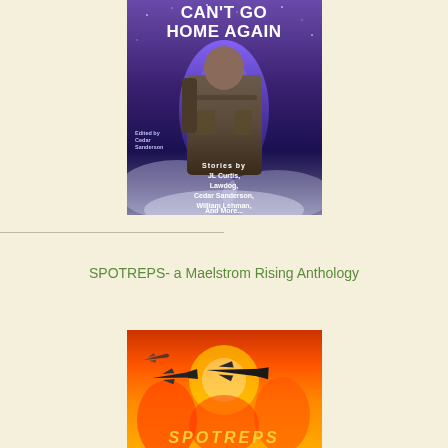[Figure (illustration): Book cover showing a soldier in tactical gear against a purple/blue cosmic background. Title text at top reads 'CAN'T GO HOME AGAIN'. Edited by Cedar Sanderson. Stories by JL Curtis, Lawdog, Cedar Sanderson, William Lehman, And More...]
SPOTREPS- a Maelstrom Rising Anthology
[Figure (illustration): Book cover (partially visible) showing military jets flying over an orange/red fiery background. The word SPOTREPS is partially visible at the bottom.]